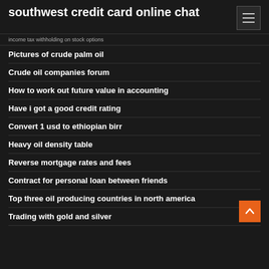southwest credit card online chat
income tax withholding on stock options
Pictures of crude palm oil
Crude oil companies forum
How to work out future value in accounting
Have i got a good credit rating
Convert 1 usd to ethiopian birr
Heavy oil density table
Reverse mortgage rates and fees
Contract for personal loan between friends
Top three oil producing countries in north america
Trading with gold and silver